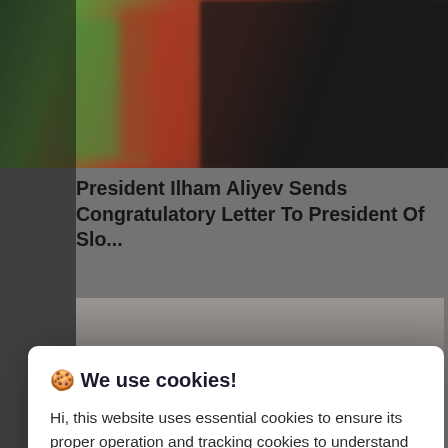[Figure (screenshot): Background news website screenshot showing blurred photo with green, red and dark colors at top, and a news article headline about President Ilham Aliyev below]
President Ilham Aliyev Sends Congratulatory Letter To President Of Slo...
[Figure (photo): Partially visible news article photo behind cookie consent modal]
🍪 We use cookies!
Hi, this website uses essential cookies to ensure its proper operation and tracking cookies to understand how you interact with it. The latter will be set only after consent. Let me choose
Accept all
Reject all